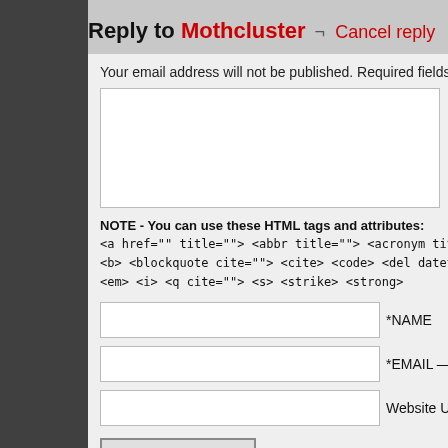Reply to Mothcluster ¬ Cancel reply
Your email address will not be published. Required fields a…
NOTE - You can use these HTML tags and attributes:
<a href="" title=""> <abbr title=""> <acronym title="">
<b> <blockquote cite=""> <cite> <code> <del datetime="":
<em> <i> <q cite=""> <s> <strike> <strong>
*NAME
*EMAIL —
Website U…
Post Comment